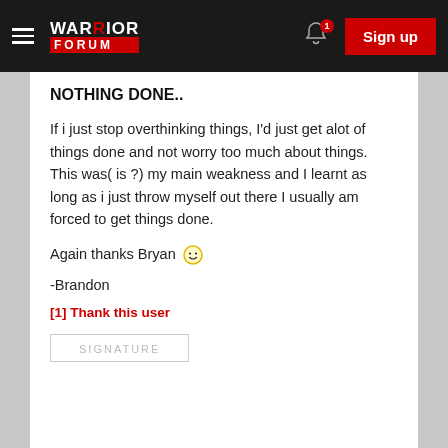WARRIOR FORUM — Sign up
NOTHING DONE..
If i just stop overthinking things, I'd just get alot of things done and not worry too much about things. This was( is ?) my main weakness and I learnt as long as i just throw myself out there I usually am forced to get things done.
Again thanks Bryan 🙂
-Brandon
[1] Thank this user
SIGNATURE